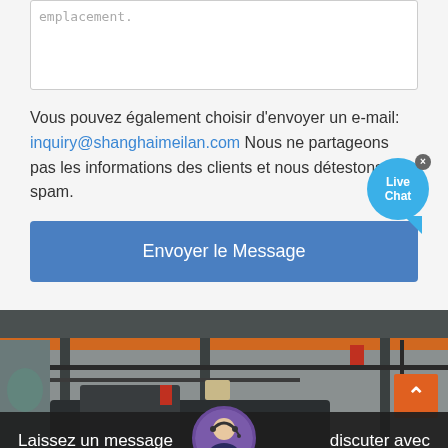emplacement.
Vous pouvez également choisir d'envoyer un e-mail: inquiry@shanghaimeilan.com Nous ne partageons pas les informations des clients et nous détestons le spam.
Envoyer le Message
[Figure (photo): Industrial facility interior with machinery, crane rails, and equipment]
Laissez un message
discuter avec